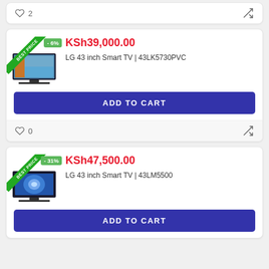♡ 2  ⇌
[Figure (screenshot): Product card for LG 43 inch Smart TV 43LK5730PVC with Best Price ribbon, -6% discount badge, product image, price KSh39,000.00, and ADD TO CART button]
KSh39,000.00
LG 43 inch Smart TV | 43LK5730PVC
ADD TO CART
♡ 0  ⇌
[Figure (screenshot): Product card for LG 43 inch Smart TV 43LM5500 with Best Price ribbon, -31% discount badge, product image, price KSh47,500.00, and ADD TO CART button]
KSh47,500.00
LG 43 inch Smart TV | 43LM5500
ADD TO CART